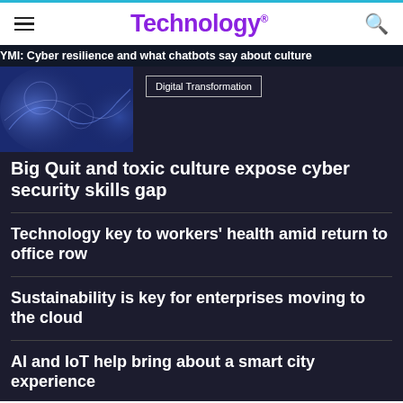Technology
YMI: Cyber resilience and what chatbots say about culture
[Figure (photo): Abstract digital blue/purple wave or sphere pattern]
Digital Transformation
Big Quit and toxic culture expose cyber security skills gap
Technology key to workers' health amid return to office row
Sustainability is key for enterprises moving to the cloud
AI and IoT help bring about a smart city experience